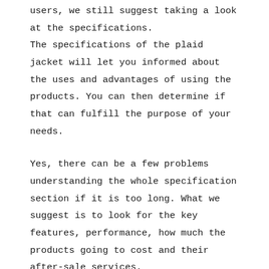users, we still suggest taking a look at the specifications.
The specifications of the plaid jacket will let you informed about the uses and advantages of using the products. You can then determine if that can fulfill the purpose of your needs.
Yes, there can be a few problems understanding the whole specification section if it is too long. What we suggest is to look for the key features, performance, how much the products going to cost and their after-sale services.
DESIGN OF PRODUCT